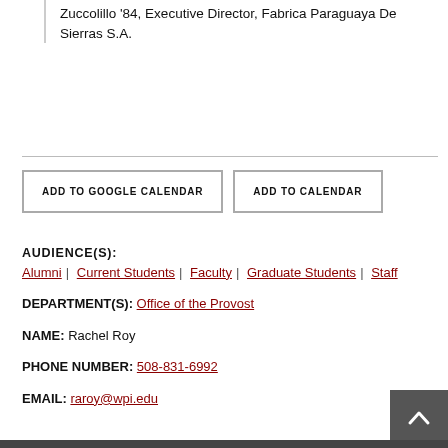Zuccolillo '84, Executive Director, Fabrica Paraguaya De Sierras S.A.
ADD TO GOOGLE CALENDAR
ADD TO CALENDAR
AUDIENCE(S): Alumni | Current Students | Faculty | Graduate Students | Staff
DEPARTMENT(S): Office of the Provost
NAME: Rachel Roy
PHONE NUMBER: 508-831-6992
EMAIL: raroy@wpi.edu